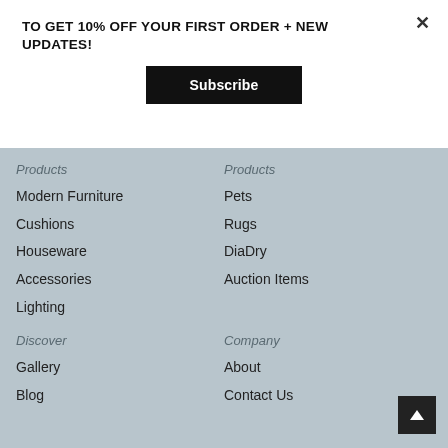TO GET 10% OFF YOUR FIRST ORDER + NEW UPDATES!
×
Subscribe
Products
Products
Modern Furniture
Pets
Cushions
Rugs
Houseware
DiaDry
Accessories
Auction Items
Lighting
Discover
Company
Gallery
About
Blog
Contact Us